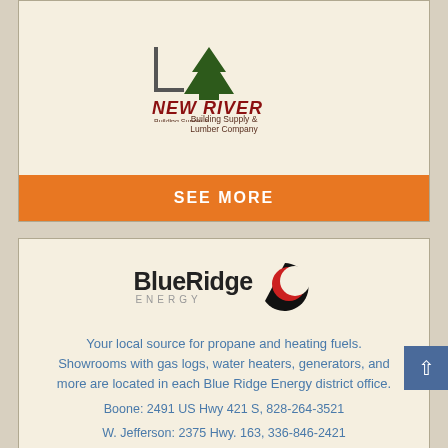[Figure (logo): New River Building Supply & Lumber Company logo with tree icon and orange SEE MORE button]
[Figure (logo): Blue Ridge Energy logo with red/black circular icon]
Your local source for propane and heating fuels. Showrooms with gas logs, water heaters, generators, and more are located in each Blue Ridge Energy district office. Boone: 2491 US Hwy 421 S, 828-264-3521 W. Jefferson: 2375 Hwy. 163, 336-846-2421 Lenoir: 100 Cooperative Way, 828-758-4401 Sparta: 1889 Hwy. 21 S, 336-372-1742
[Figure (logo): Facebook icon (blue rounded square with white f)]